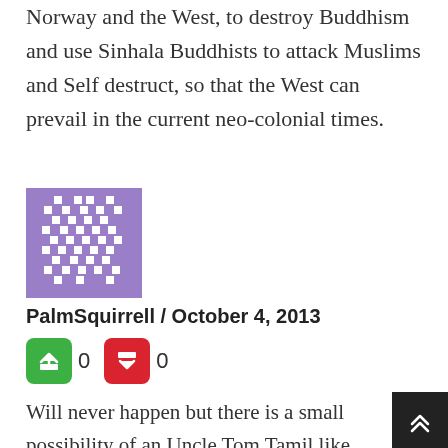Norway and the West, to destroy Buddhism and use Sinhala Buddhists to attack Muslims and Self destruct, so that the West can prevail in the current neo-colonial times.
[Figure (illustration): Purple pixelated avatar icon with diamond/square pattern]
PalmSquirrell / October 4, 2013
0  0
Will never happen but there is a small possibility of an Uncle Tom Tamil like Karuna, Douglas or L. Kadirigamar.